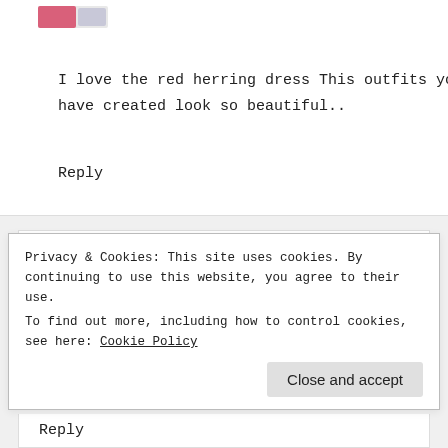[Figure (photo): Small colorful avatar image at the top left of the first comment block]
I love the red herring dress This outfits you have created look so beautiful..
Reply
[Figure (photo): Profile photo of Ami Rose, a woman with dark hair holding a black cat]
AMI ROSE SAYS
September 15, 2017 at 7:42 pm
Privacy & Cookies: This site uses cookies. By continuing to use this website, you agree to their use.
To find out more, including how to control cookies, see here: Cookie Policy
Close and accept
Reply